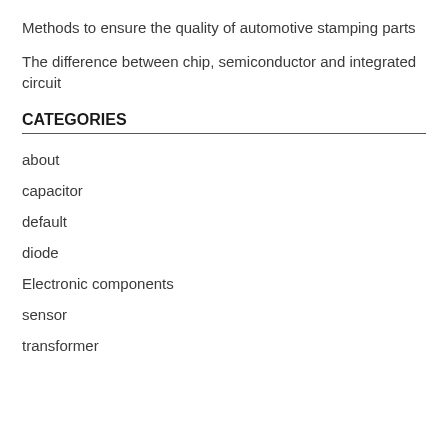Methods to ensure the quality of automotive stamping parts
The difference between chip, semiconductor and integrated circuit
CATEGORIES
about
capacitor
default
diode
Electronic components
sensor
transformer